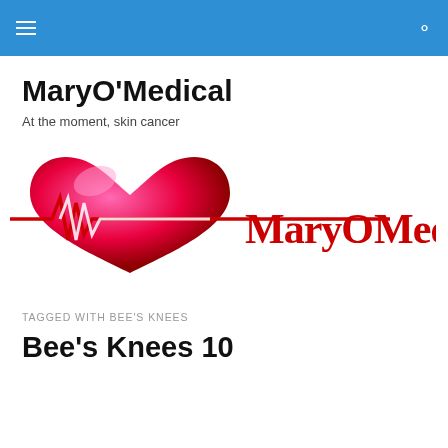MaryO'Medical
MaryO'Medical
At the moment, skin cancer
[Figure (logo): MaryOMedical logo: a red heart with a white ECG heartbeat line and the text 'MaryOMedical' in red serif font]
TAGGED WITH BEE'S KNEES
Bee's Knees 10